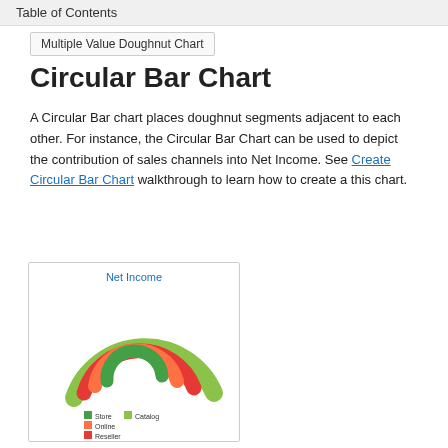Table of Contents
Multiple Value Doughnut Chart
Circular Bar Chart
A Circular Bar chart places doughnut segments adjacent to each other. For instance, the Circular Bar Chart can be used to depict the contribution of sales channels into Net Income. See Create Circular Bar Chart walkthrough to learn how to create a this chart.
[Figure (donut-chart): Circular bar chart showing Net Income broken into concentric arc segments for different sales channels: Store, Online, Reseller, Catalog — colored green, orange, red, and lime green respectively.]